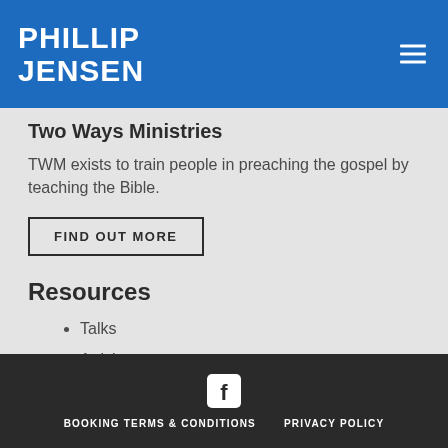PHILLIP JENSEN
Two Ways Ministries
TWM exists to train people in preaching the gospel by teaching the Bible.
FIND OUT MORE
Resources
Talks
Articles
Publications
BOOKING TERMS & CONDITIONS    PRIVACY POLICY